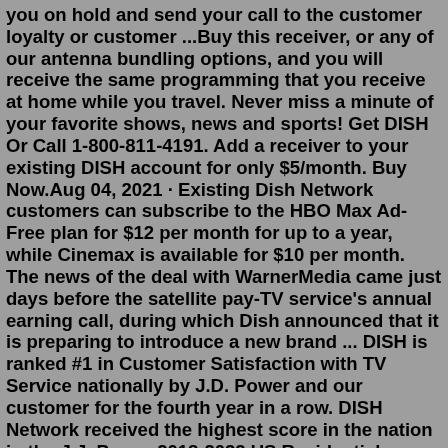you on hold and send your call to the customer loyalty or customer ...Buy this receiver, or any of our antenna bundling options, and you will receive the same programming that you receive at home while you travel. Never miss a minute of your favorite shows, news and sports! Get DISH Or Call 1-800-811-4191. Add a receiver to your existing DISH account for only $5/month. Buy Now.Aug 04, 2021 · Existing Dish Network customers can subscribe to the HBO Max Ad-Free plan for $12 per month for up to a year, while Cinemax is available for $10 per month. The news of the deal with WarnerMedia came just days before the satellite pay-TV service's annual earning call, during which Dish announced that it is preparing to introduce a new brand ... DISH is ranked #1 in Customer Satisfaction with TV Service nationally by J.D. Power and our customer for the fourth year in a row. DISH Network received the highest score in the nation in the J.J. Power 2018-2022 US Residential Television Service Provider Satisfaction Studies of customers' satisfaction with their current television